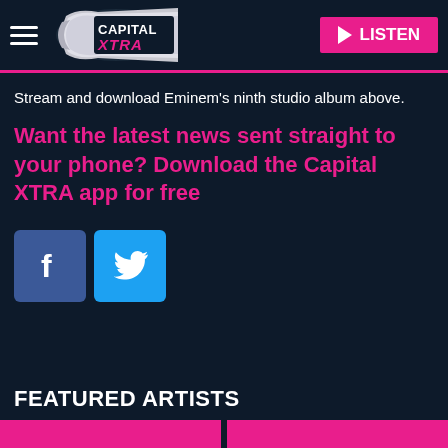[Figure (logo): Capital XTRA radio logo with hamburger menu and LISTEN button]
Stream and download Eminem's ninth studio album above.
Want the latest news sent straight to your phone? Download the Capital XTRA app for free
[Figure (infographic): Facebook and Twitter social share buttons]
FEATURED ARTISTS
[Figure (illustration): Two featured artist cards (pink bars at bottom)]